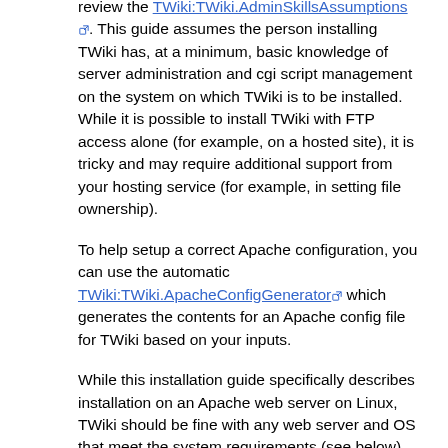review the TWiki:TWiki.AdminSkillsAssumptions [external link]. This guide assumes the person installing TWiki has, at a minimum, basic knowledge of server administration and cgi script management on the system on which TWiki is to be installed. While it is possible to install TWiki with FTP access alone (for example, on a hosted site), it is tricky and may require additional support from your hosting service (for example, in setting file ownership).
To help setup a correct Apache configuration, you can use the automatic TWiki:TWiki.ApacheConfigGenerator [external link] which generates the contents for an Apache config file for TWiki based on your inputs.
While this installation guide specifically describes installation on an Apache web server on Linux, TWiki should be fine with any web server and OS that meet the system requirements (see below). For additional notes on installing TWiki on other systems, see TWiki:TWiki.InstallingTWiki#OtherPlatforms [external link].
If you are installing TWiki without Unix/Linux root (administrator) privileges (for example, on a hosted domain), see "Notes on Installing TWiki on Non-Root Account" below for some hints on installation on the hosting systems supported by the TWiki community.